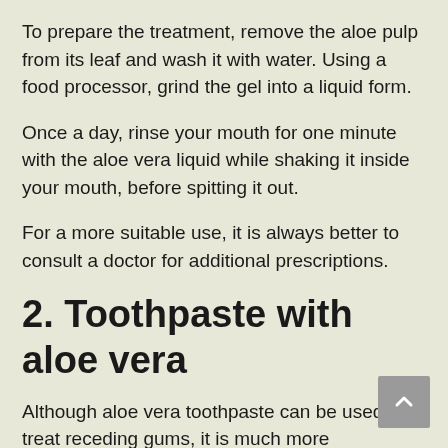To prepare the treatment, remove the aloe pulp from its leaf and wash it with water. Using a food processor, grind the gel into a liquid form.
Once a day, rinse your mouth for one minute with the aloe vera liquid while shaking it inside your mouth, before spitting it out.
For a more suitable use, it is always better to consult a doctor for additional prescriptions.
2. Toothpaste with aloe vera
Although aloe vera toothpaste can be used to treat receding gums, it is much more